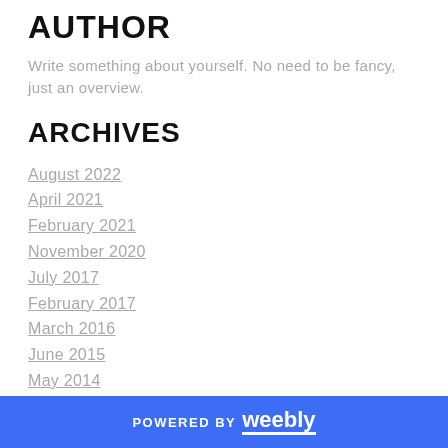AUTHOR
Write something about yourself. No need to be fancy, just an overview.
ARCHIVES
August 2022
April 2021
February 2021
November 2020
July 2017
February 2017
March 2016
June 2015
May 2014
July 2013
April 2013
POWERED BY weebly